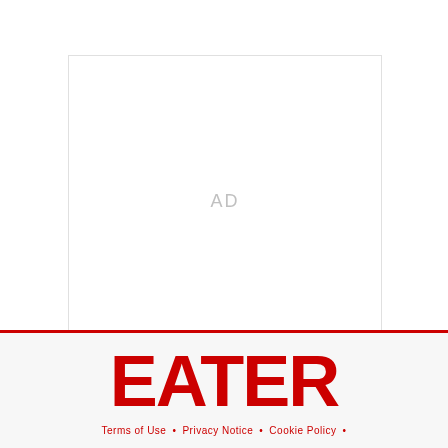[Figure (other): Advertisement placeholder box with 'AD' text centered inside a white rectangle with light border]
EATER
Terms of Use • Privacy Notice • Cookie Policy •